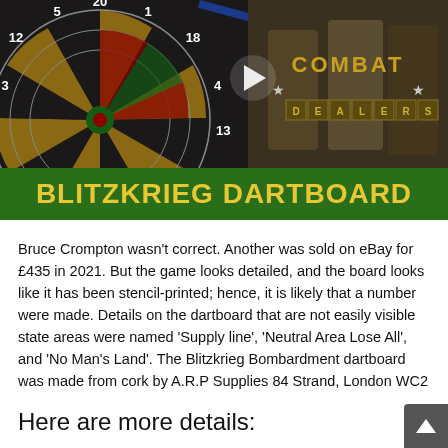[Figure (photo): Screenshot of a web page showing a video thumbnail of a dartboard with WWII imagery and 'BLITZKRIEG DARTBOARD' banner in green and yellow text. Right side shows 'Combat Dealers' TV show logo.]
Bruce Crompton wasn’t correct. Another was sold on eBay for £435 in 2021. But the game looks detailed, and the board looks like it has been stencil-printed; hence, it is likely that a number were made. Details on the dartboard that are not easily visible state areas were named ‘Supply line’, ‘Neutral Area Lose All’, and ‘No Man’s Land’. The Blitzkrieg Bombardment dartboard was made from cork by A.R.P Supplies 84 Strand, London WC2
Here are more details:
The dartboard is two-sided. A standard London Clock Dartboard features on one side with a natural, red and dark blue colour. The